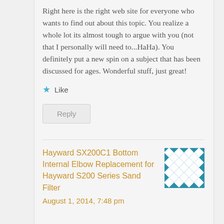Right here is the right web site for everyone who wants to find out about this topic. You realize a whole lot its almost tough to argue with you (not that I personally will need to...HaHa). You definitely put a new spin on a subject that has been discussed for ages. Wonderful stuff, just great!
Like
Reply
Hayward SX200C1 Bottom Internal Elbow Replacement for Hayward S200 Series Sand Filter
August 1, 2014, 7:48 pm